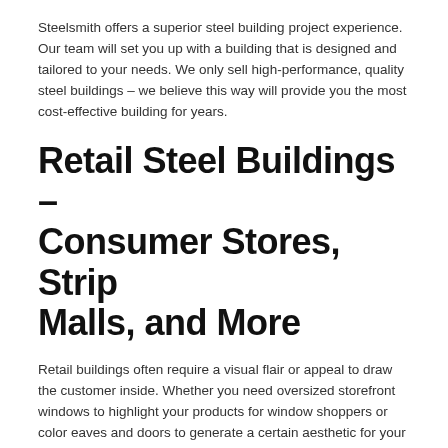Steelsmith offers a superior steel building project experience. Our team will set you up with a building that is designed and tailored to your needs. We only sell high-performance, quality steel buildings – we believe this way will provide you the most cost-effective building for years.
Retail Steel Buildings – Consumer Stores, Strip Malls, and More
Retail buildings often require a visual flair or appeal to draw the customer inside. Whether you need oversized storefront windows to highlight your products for window shoppers or color eaves and doors to generate a certain aesthetic for your boutique, steel buildings can be your solution.
Retail building owners choose pre-engineered steel buildings because of their strength, durability, and low-maintenance costs. When insulation material is installed,